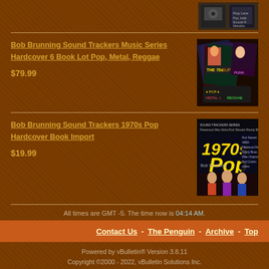[Figure (photo): Top product image thumbnail (partially visible at top)]
Bob Brunning Sound Trackers Music Series Hardcover 6 Book Lot Pop, Metal, Reggae
$79.99
[Figure (photo): Book lot product image showing multiple colorful music book covers]
Bob Brunning Sound Trackers 1970s Pop Hardcover Book Import
$19.99
[Figure (photo): 1970s Pop book cover showing performers and gold '1970s Pop' text]
All times are GMT -5. The time now is 04:14 AM.
Contact Us - The Penguin - Archive - Top
Powered by vBulletin® Version 3.8.11
Copyright ©2000 - 2022, vBulletin Solutions Inc.
© 1995-2003 Martin and Lisa Adelson, All Rights Reserved